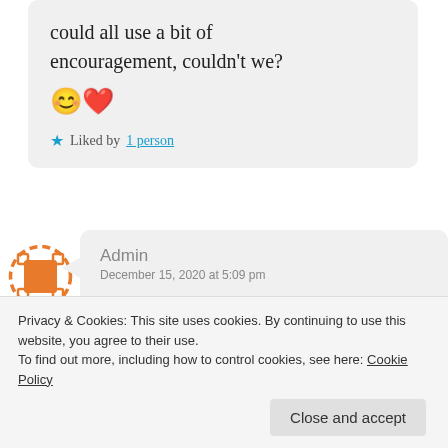could all use a bit of encouragement, couldn't we? 😊❤️
★ Liked by 1 person
Admin
December 15, 2020 at 5:09 pm
Joy,

Please pray for me. I am feeling so
Privacy & Cookies: This site uses cookies. By continuing to use this website, you agree to their use.
To find out more, including how to control cookies, see here: Cookie Policy
Close and accept